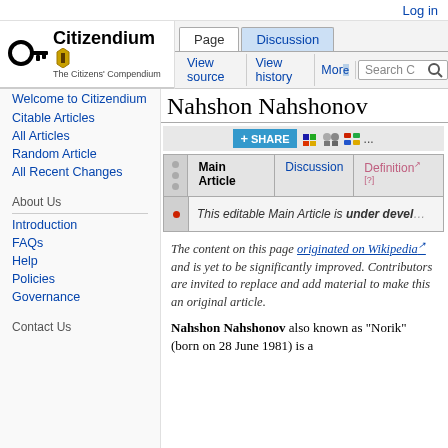Log in
[Figure (logo): Citizendium logo with key icon and text 'The Citizens' Compendium']
Page | Discussion | View source | View history | More | Search
Nahshon Nahshonov
| Main Article | Discussion | Definition | [?] |
| --- | --- | --- | --- |
| This editable Main Article is under devel... |  |  |  |
The content on this page originated on Wikipedia and is yet to be significantly improved. Contributors are invited to replace and add material to make this an original article.
Nahshon Nahshonov also known as "Norik" (born on 28 June 1981) is a
Welcome to Citizendium
Citable Articles
All Articles
Random Article
All Recent Changes
About Us
Introduction
FAQs
Help
Policies
Governance
Contact Us